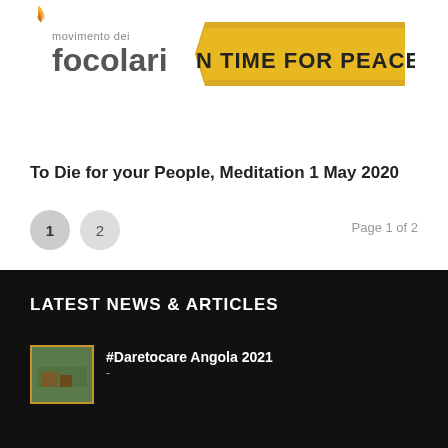[Figure (logo): Movimento dei Focolari logo with flame icon and text]
[Figure (logo): »IN TIME FOR PEACE« yellow banner badge]
To Die for your People, Meditation 1 May 2020
1  2   Page 1 of 2
LATEST NEWS & ARTICLES
#Daretocare Angola 2021
-